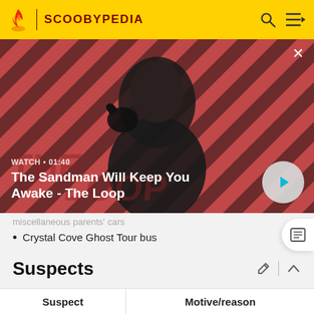SCOOBYPEDIA
[Figure (screenshot): Video thumbnail showing a man in dark clothing with a raven on his shoulder against a red and dark striped background. Text overlay reads 'WATCH • 01:40' and 'The Sandman Will Keep You Awake - The Loop' with a play button.]
miscellaneous parents' cars
Crystal Cove Ghost Tour bus
Suspects
| Suspect | Motive/reason |
| --- | --- |